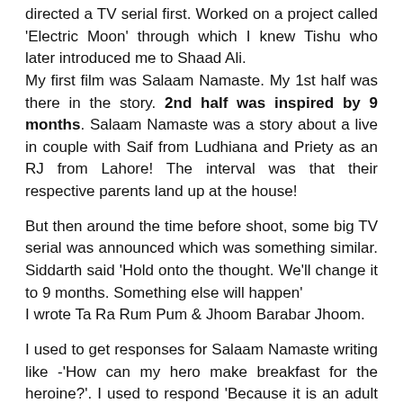directed a TV serial first. Worked on a project called 'Electric Moon' through which I knew Tishu who later introduced me to Shaad Ali. My first film was Salaam Namaste. My 1st half was there in the story. 2nd half was inspired by 9 months. Salaam Namaste was a story about a live in couple with Saif from Ludhiana and Priety as an RJ from Lahore! The interval was that their respective parents land up at the house!
But then around the time before shoot, some big TV serial was announced which was something similar. Siddarth said 'Hold onto the thought. We'll change it to 9 months. Something else will happen' I wrote Ta Ra Rum Pum & Jhoom Barabar Jhoom.
I used to get responses for Salaam Namaste writing like -'How can my hero make breakfast for the heroine?'. I used to respond 'Because it is an adult story, for...